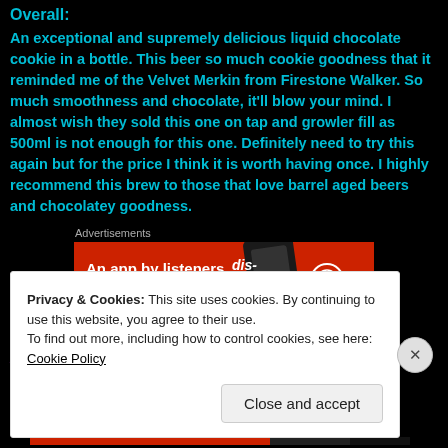Overall:
An exceptional and supremely delicious liquid chocolate cookie in a bottle. This beer so much cookie goodness that it reminded me of the Velvet Merkin from Firestone Walker. So much smoothness and chocolate, it'll blow your mind. I almost wish they sold this one on tap and growler fill as 500ml is not enough for this one. Definitely need to try this again but for the price I think it is worth having once. I highly recommend this brew to those that love barrel aged beers and chocolatey goodness.
Advertisements
[Figure (screenshot): Pocket Casts advertisement banner: red background with 'An app by listeners, for listeners.' text and Pocket Casts logo]
REPORT THIS AD
Anime Corner:
Partial text visible beneath cookie overlay
Privacy & Cookies: This site uses cookies. By continuing to use this website, you agree to their use.
To find out more, including how to control cookies, see here: Cookie Policy